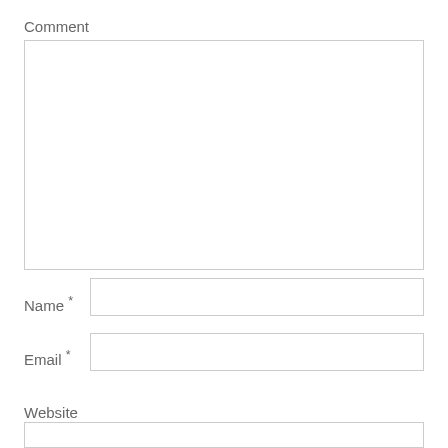Comment
[Figure (other): Large empty comment textarea input field]
Name *
[Figure (other): Name text input field]
Email *
[Figure (other): Email text input field]
Website
[Figure (other): Website text input field (partially visible)]